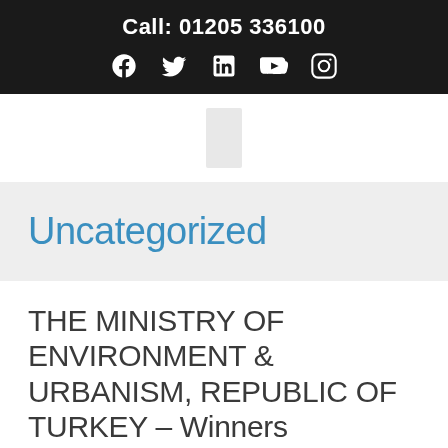Call: 01205 336100
[Figure (logo): Social media icons: Facebook, Twitter, LinkedIn, YouTube, Instagram]
[Figure (logo): Small rectangular logo placeholder in center]
Uncategorized
THE MINISTRY OF ENVIRONMENT & URBANISM, REPUBLIC OF TURKEY – Winners
Uncategorized / By admin